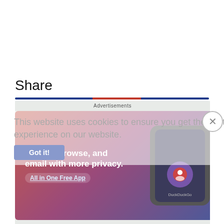Share
[Figure (infographic): Social media share buttons row: plus button, Facebook icon, plus button, Twitter bird icon, plus button, Pinterest P icon, LinkedIn in icon]
This website uses cookies to ensure you get the best experience on our website.
[Figure (screenshot): DuckDuckGo advertisement banner: 'Search, browse, and email with more privacy. All in One Free App' with phone mockup showing DuckDuckGo app]
Got it!
Advertisements